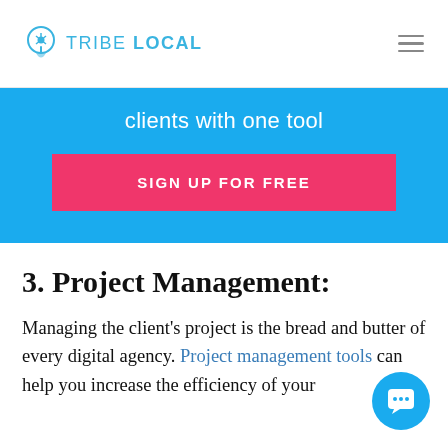TRIBE LOCAL
clients with one tool
SIGN UP FOR FREE
3. Project Management:
Managing the client's project is the bread and butter of every digital agency. Project management tools can help you increase the efficiency of your